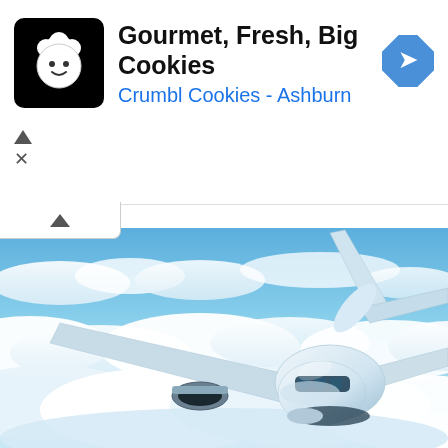[Figure (screenshot): Advertisement banner for Crumbl Cookies - Ashburn with logo, title 'Gourmet, Fresh, Big Cookies', subtitle 'Crumbl Cookies - Ashburn', navigation icon, and ad controls]
[Figure (photo): Aerial photograph of a large commercial passenger aircraft flying above clouds in a blue sky, viewed from a slightly elevated front angle showing the nose, cockpit windows, wings, and engine]